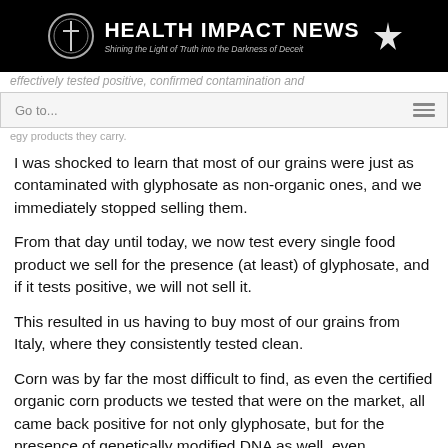HEALTH IMPACT NEWS — Shining the Light of Truth into the Darkness of Deceit
Go to...
I was shocked to learn that most of our grains were just as contaminated with glyphosate as non-organic ones, and we immediately stopped selling them.
From that day until today, we now test every single food product we sell for the presence (at least) of glyphosate, and if it tests positive, we will not sell it.
This resulted in us having to buy most of our grains from Italy, where they consistently tested clean.
Corn was by far the most difficult to find, as even the certified organic corn products we tested that were on the market, all came back positive for not only glyphosate, but for the presence of genetically modified DNA as well, even if it was advertised as being free of GMOs...